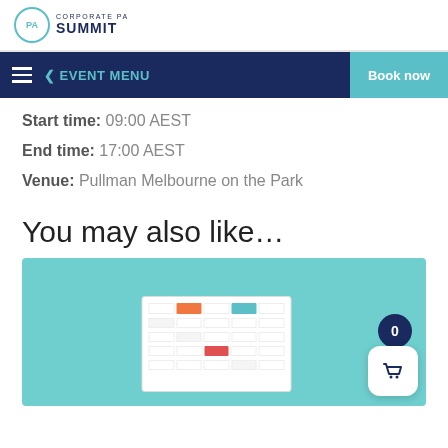Corporate PA Summit
EVENT MENU | Book now
Start time: 09:00 AEST
End time: 17:00 AEST
Venue: Pullman Melbourne on the Park
You may also like…
[Figure (illustration): Teal background illustration showing a calendar/schedule grid mockup with colored cells (orange, teal, red), with a shopping cart button overlay showing badge count 0]